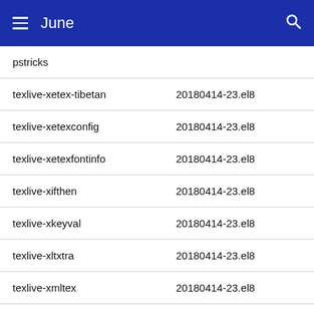June
| Package | Version |
| --- | --- |
| pstricks |  |
| texlive-xetex-tibetan | 20180414-23.el8 |
| texlive-xetexconfig | 20180414-23.el8 |
| texlive-xetexfontinfo | 20180414-23.el8 |
| texlive-xifthen | 20180414-23.el8 |
| texlive-xkeyval | 20180414-23.el8 |
| texlive-xltxtra | 20180414-23.el8 |
| texlive-xmltex | 20180414-23.el8 |